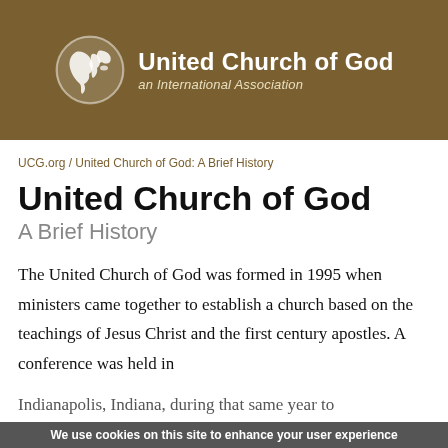[Figure (logo): United Church of God logo: white globe icon on left, organization name 'United Church of God an International Association' in white text on brown background]
UCG.org / United Church of God: A Brief History
United Church of God
A Brief History
The United Church of God was formed in 1995 when ministers came together to establish a church based on the teachings of Jesus Christ and the first century apostles. A conference was held in Indianapolis, Indiana, during that same year to
We use cookies on this site to enhance your user experience